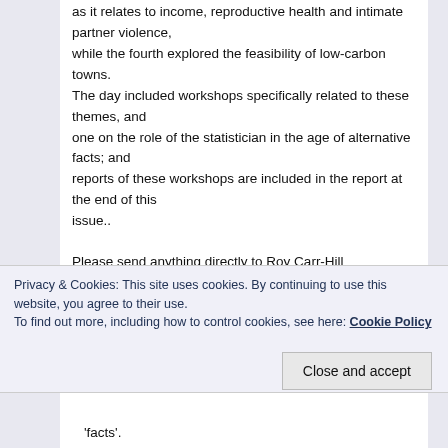as it relates to income, reproductive health and intimate partner violence, while the fourth explored the feasibility of low-carbon towns. The day included workshops specifically related to these themes, and one on the role of the statistician in the age of alternative facts; and reports of these workshops are included in the report at the end of this issue..
Please send anything directly to Roy Carr-Hill roy.carr_hill@yahoo.com with Subject Title: Contribution on 2018 London RadStats
Privacy & Cookies: This site uses cookies. By continuing to use this website, you agree to their use. To find out more, including how to control cookies, see here: Cookie Policy
Close and accept
'facts'.